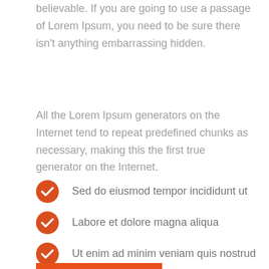believable. If you are going to use a passage of Lorem Ipsum, you need to be sure there isn't anything embarrassing hidden.
All the Lorem Ipsum generators on the Internet tend to repeat predefined chunks as necessary, making this the first true generator on the Internet.
Sed do eiusmod tempor incididunt ut
Labore et dolore magna aliqua
Ut enim ad minim veniam quis nostrud